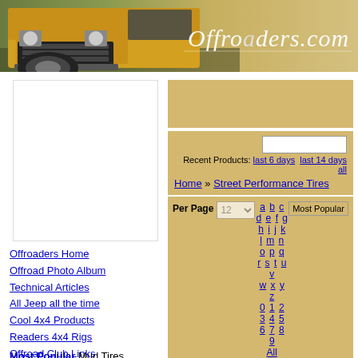[Figure (photo): Offroaders.com website header banner with yellow off-road truck and italic logo text 'Offroaders.com']
[Figure (other): Left sidebar advertisement placeholder (white box)]
Offroaders Home
Offroad Photo Album
Technical Articles
All Jeep all the time
Cool 4x4 Products
Readers 4x4 Rigs
Offroad Club Links
Offroad Links Directory
4x4 Related Vendors
Shop for some stuff
Computer Geek Help
Search • Contact
Project Jeep CJ-7
Most Popular Mud Tires
[Figure (other): Top right advertisement area (tan/beige box)]
Home » Street Performance Tires
Recent Products: last 6 days  last 14 days  all
Per Page  12  a b c d e f g h i j k l m n o p q r s t u v w x y z  0 1 2 3 4 5 6 7 8 9  All  Most Popular
|  | Products | Views | Rating |  |
| --- | --- | --- | --- | --- |
|  | Mickey Thompson Sportsman S/T Tire Reviews posted by Editor |  |  |  |
| [MT logo] | Mickey |  |  |  |